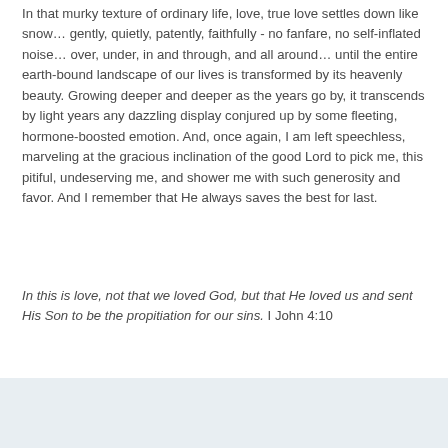In that murky texture of ordinary life, love, true love settles down like snow… gently, quietly, patently, faithfully - no fanfare, no self-inflated noise… over, under, in and through, and all around… until the entire earth-bound landscape of our lives is transformed by its heavenly beauty. Growing deeper and deeper as the years go by, it transcends by light years any dazzling display conjured up by some fleeting, hormone-boosted emotion. And, once again, I am left speechless, marveling at the gracious inclination of the good Lord to pick me, this pitiful, undeserving me, and shower me with such generosity and favor. And I remember that He always saves the best for last.
In this is love, not that we loved God, but that He loved us and sent His Son to be the propitiation for our sins. I John 4:10
No comments: